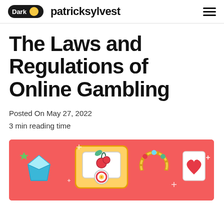Dark  patricksylvest
The Laws and Regulations of Online Gambling
Posted On May 27, 2022
3 min reading time
[Figure (illustration): A colorful illustration on a coral/red background featuring online gambling icons: a diamond gem, a slot machine with cherry and leaves, a golden horseshoe bracelet, a playing card with heart, and sparkle decorations.]